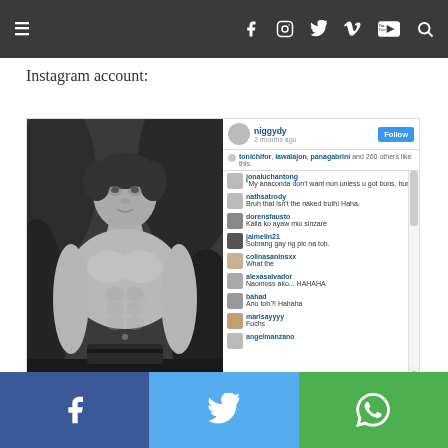≡  f  ☐  𝕥  V  YouTube  🔍
Instagram account:
[Figure (screenshot): Screenshot of an Instagram post showing a shirtless young man in a black-and-white outdoor photo, with comments from users including jonaluchantong, nathsatrody, dorensfausto, jaimelin21, colinasaninsxx, alexasalvador, bahad, marisayyyy, angelmanzano. Username: niggydy, posted 2 months ago. Comments visible include 'My anaconda don't want nun unless u got buns, hun', 'Bruh that isn't the naked truth! Haha', 'Kaila ko ayaw mio sinzare', 'Sobrang gay ng pic na toh.', 'What the', 'Naomoss ako... HAHAHA', 'Ano toh?! Hahaha', 'Fuchs'.]
[Figure (infographic): Bottom social share bar with Facebook (blue), Twitter (light blue), and WhatsApp (green) icons.]